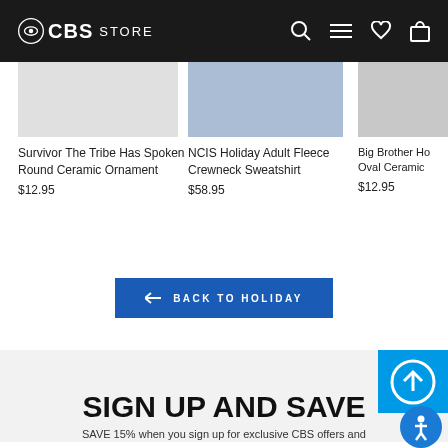CBS STORE
Survivor The Tribe Has Spoken Round Ceramic Ornament
$12.95
NCIS Holiday Adult Fleece Crewneck Sweatshirt
$58.95
Big Brother Ho Oval Ceramic
$12.95
← BACK TO HOLIDAY
SIGN UP AND SAVE
SAVE 15% when you sign up for exclusive CBS offers and